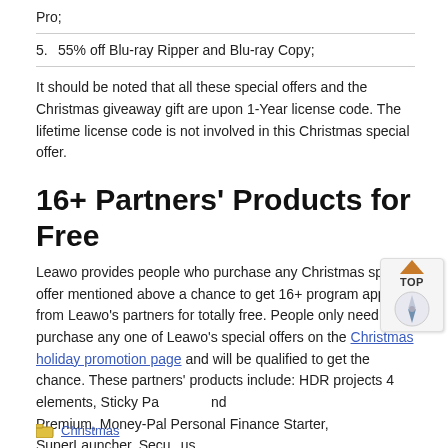Pro;
5. 55% off Blu-ray Ripper and Blu-ray Copy;
It should be noted that all these special offers and the Christmas giveaway gift are upon 1-Year license code. The lifetime license code is not involved in this Christmas special offer.
16+ Partners' Products for Free
Leawo provides people who purchase any Christmas special offer mentioned above a chance to get 16+ program apps from Leawo's partners for totally free. People only need to purchase any one of Leawo's special offers on the Christmas holiday promotion page and will be qualified to get the chance. These partners' products include: HDR projects 4 elements, Sticky Pa Premium, Money-Pal Personal Finance Starter, SuperLauncher, Secu Premium, SIMPLY GOOD PICTURES 4, Epubor Ultimate for Win, GP Location Remover for Photos, etc.
Christmas